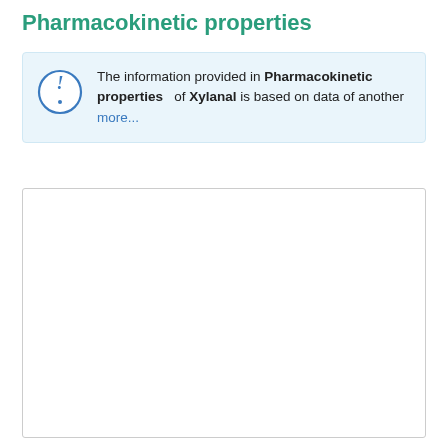Pharmacokinetic properties
The information provided in Pharmacokinetic properties of Xylanal is based on data of another more...
[Figure (other): Empty white content box with light grey border]